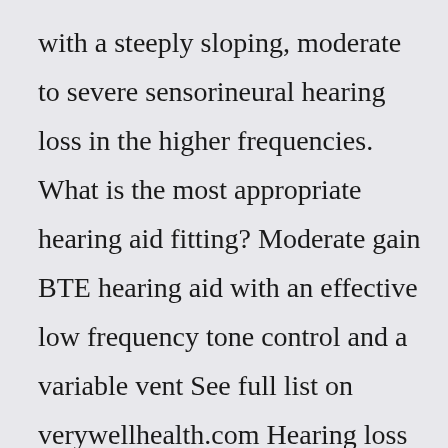with a steeply sloping, moderate to severe sensorineural hearing loss in the higher frequencies. What is the most appropriate hearing aid fitting? Moderate gain BTE hearing aid with an effective low frequency tone control and a variable vent See full list on verywellhealth.com Hearing loss was calculated by air conduction at 500, 1000, 2000 and 4000 Hz, taken individually or jointly, depending on the analysis.